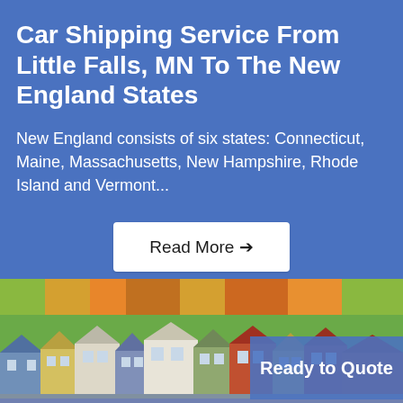Car Shipping Service From Little Falls, MN To The New England States
New England consists of six states: Connecticut, Maine, Massachusetts, New Hampshire, Rhode Island and Vermont...
Read More →
[Figure (photo): Colorful New England coastal town with houses of various colors nestled among autumn foliage trees]
Ready to Quote